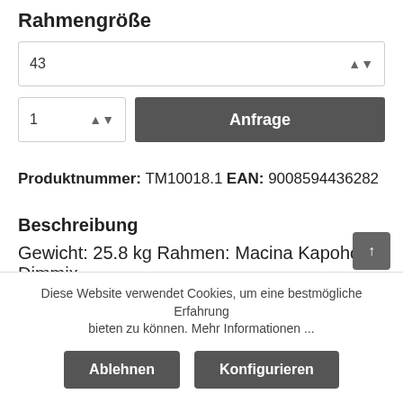Rahmengröße
[Figure (screenshot): Dropdown select box showing value '43' with up/down arrows]
[Figure (screenshot): Quantity spinner showing '1' and 'Anfrage' dark button]
Produktnummer: TM10018.1
EAN: 9008594436282
Beschreibung
Gewicht: 25.8 kg Rahmen: Macina Kapoho Dimmix
Ab... 6061 SH LTE 468... BT625 B... d G... 4 / M...
Diese Website verwendet Cookies, um eine bestmögliche Erfahrung bieten zu können. Mehr Informationen ...
Ablehnen
Konfigurieren